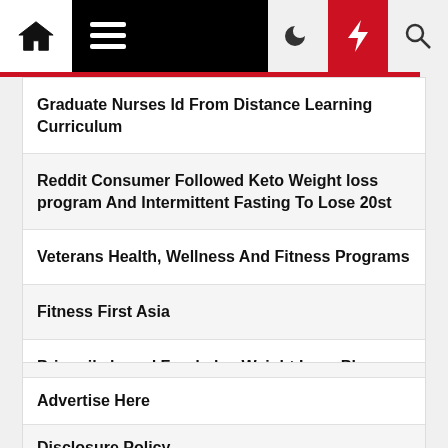Navigation bar with home, menu, moon, bolt, and search icons
Graduate Nurses Id From Distance Learning Curriculum
Reddit Consumer Followed Keto Weight loss program And Intermittent Fasting To Lose 20st
Veterans Health, Wellness And Fitness Programs
Fitness First Asia
Primarily based Food plan Weight Loss Plans
Advertise Here
Disclosure Policy